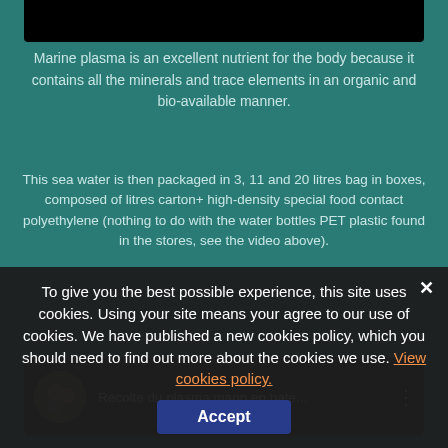[Figure (screenshot): Black bar at top representing a cropped image/video area]
Marine plasma is an excellent nutrient for the body because it contains all the minerals and trace elements in an organic and bio-available manner.
This sea water is then packaged in 3, 11 and 20 litres bag in boxes, composed of litres carton+ high-density special food contact polyethylene (nothing to do with the water bottles PET plastic found in the stores, see the video above).
[Figure (screenshot): YouTube video thumbnail: Récolte du plasma marin en bate... with avatar of a couple and three-dot menu]
To give you the best possible experience, this site uses cookies. Using your site means your agree to our use of cookies. We have published a new cookies policy, which you should need to find out more about the cookies we use. View cookies policy.
Accept